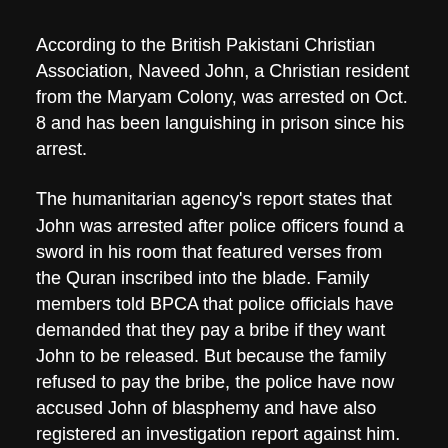According to the British Pakistani Christian Association, Naveed John, a Christian resident from the Maryam Colony, was arrested on Oct. 8 and has been languishing in prison since his arrest.
The humanitarian agency's report states that John was arrested after police officers found a sword in his room that featured verses from the Quran inscribed into the blade. Family members told BPCA that police officials have demanded that they pay a bribe if they want John to be released. But because the family refused to pay the bribe, the police have now accused John of blasphemy and have also registered an investigation report against him.
The police report states that police found a sword in Naveed's room inscribed with Muslim proclamations. It further states that a Christian should not be in possession of the Muslim sword and that knowledge of the sword in a Christian's possession could stir Muslims to violence.